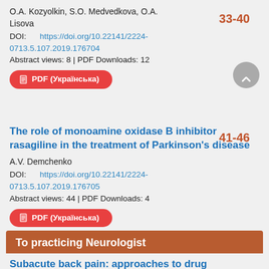O.A. Kozyolkin, S.O. Medvedkova, O.A. Lisova
33-40
DOI: https://doi.org/10.22141/2224-0713.5.107.2019.176704
Abstract views: 8 | PDF Downloads: 12
PDF (Українська)
The role of monoamine oxidase B inhibitor rasagiline in the treatment of Parkinson's disease
A.V. Demchenko
41-46
DOI: https://doi.org/10.22141/2224-0713.5.107.2019.176705
Abstract views: 44 | PDF Downloads: 4
PDF (Українська)
To practicing Neurologist
Subacute back pain: approaches to drug